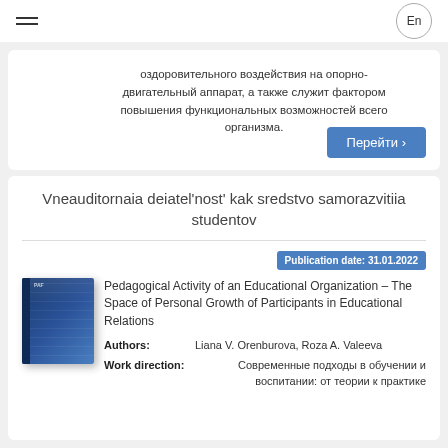En
оздоровительного воздействия на опорно-двигательный аппарат, а также служит фактором повышения функциональных возможностей всего организма.
Перейти ›
Vneauditornaia deiatel'nost' kak sredstvo samorazvitiia studentov
Publication date: 31.01.2022
[Figure (illustration): Book cover image - blue academic book]
Pedagogical Activity of an Educational Organization – The Space of Personal Growth of Participants in Educational Relations
Authors: Liana V. Orenburova, Roza A. Valeeva
Work direction: Современные подходы в обучении и воспитании: от теории к практике